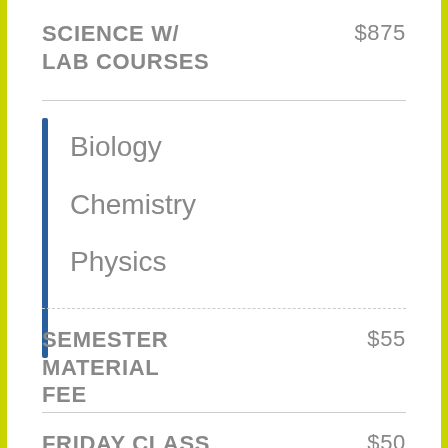SCIENCE W/ LAB COURSES  $875
Biology
Chemistry
Physics
SEMESTER MATERIAL FEE  $55
FRIDAY CLASS ENHANCEMENT